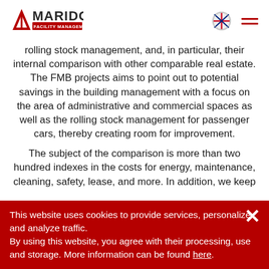Marido Facility Management logo with navigation icons
rolling stock management, and, in particular, their internal comparison with other comparable real estate. The FMB projects aims to point out to potential savings in the building management with a focus on the area of administrative and commercial spaces as well as the rolling stock management for passenger cars, thereby creating room for improvement.
The subject of the comparison is more than two hundred indexes in the costs for energy, maintenance, cleaning, safety, lease, and more. In addition, we keep
This website uses cookies to provide services, personalize and analyze traffic.
By using this website, you agree with their processing, use and storage. More information can be found here.